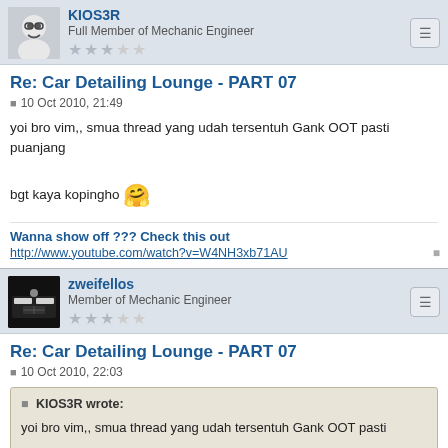KIOS3R - Full Member of Mechanic Engineer
Re: Car Detailing Lounge - PART 07
10 Oct 2010, 21:49
yoi bro vim,, smua thread yang udah tersentuh Gank OOT pasti puanjang bgt kaya kopingho
Wanna show off ??? Check this out
http://www.youtube.com/watch?v=W4NH3xb71AU
zweifellos - Member of Mechanic Engineer
Re: Car Detailing Lounge - PART 07
10 Oct 2010, 22:03
KIOS3R wrote:
yoi bro vim,, smua thread yang udah tersentuh Gank OOT pasti
puanjang bgt kaya kopingho